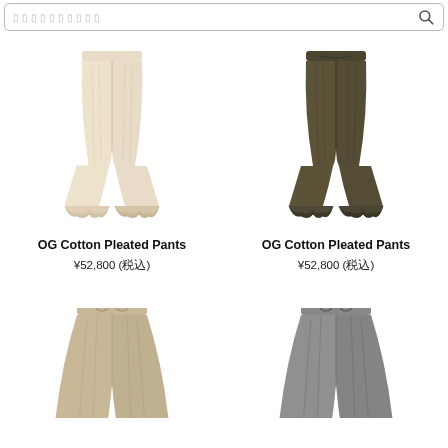[Figure (other): Search bar with Japanese placeholder text and search icon]
[Figure (photo): Beige/cream OG Cotton Pleated Pants with ruffled hem, product photo]
OG Cotton Pleated Pants
¥52,800 (税込)
[Figure (photo): Dark olive/brown OG Cotton Pleated Pants with ruffled hem, product photo]
OG Cotton Pleated Pants
¥52,800 (税込)
[Figure (photo): Beige/tan wide-leg pants with drawstring, partial product photo]
[Figure (photo): Gray wide-leg pants with drawstring, partial product photo]